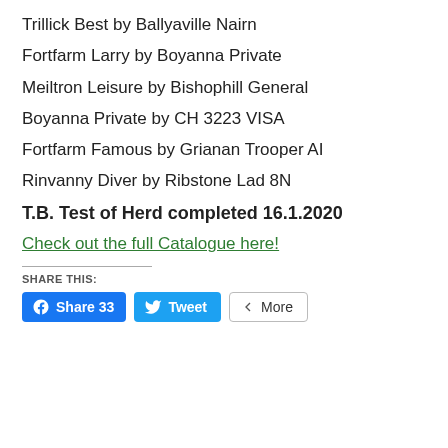Trillick Best by Ballyaville Nairn
Fortfarm Larry by Boyanna Private
Meiltron Leisure by Bishophill General
Boyanna Private by CH 3223 VISA
Fortfarm Famous by Grianan Trooper AI
Rinvanny Diver by Ribstone Lad 8N
T.B. Test of Herd completed 16.1.2020
Check out the full Catalogue here!
SHARE THIS:
Share 33  Tweet  More